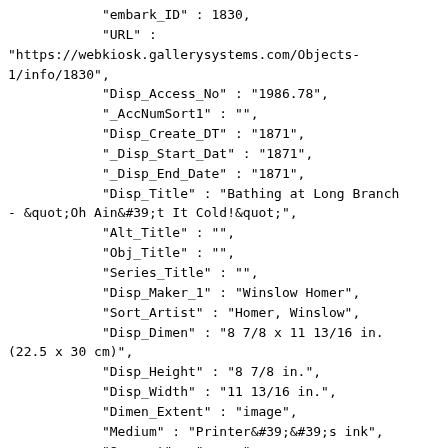"embark_ID" : 1830,
"URL" :
"https://webkiosk.gallerysystems.com/Objects-1/info/1830",
            "Disp_Access_No" : "1986.78",
            "_AccNumSort1" : "",
            "Disp_Create_DT" : "1871",
            "_Disp_Start_Dat" : "1871",
            "_Disp_End_Date" : "1871",
            "Disp_Title" : "Bathing at Long Branch - &quot;Oh Ain&#39;t It Cold!&quot;",
            "Alt_Title" : "",
            "Obj_Title" : "",
            "Series_Title" : "",
            "Disp_Maker_1" : "Winslow Homer",
            "Sort_Artist" : "Homer, Winslow",
            "Disp_Dimen" : "8 7/8 x 11 13/16 in. (22.5 x 30 cm)",
            "Disp_Height" : "8 7/8 in.",
            "Disp_Width" : "11 13/16 in.",
            "Dimen_Extent" : "image",
            "Medium" : "Printer&#39;&#39;s ink",
            "Support" : "paper",
            "Disp_Medium" : "Wood engraving",
            "Info_Page_Comm" : "Published in &quot;Every Saturday,&quot; August 26, 1871",
            "Dedication" : "Gift of Howard and Florence Merritt",
            "Copyright_Type" : "Public Domain",
            "Disp_Obj_Type" : "Print",